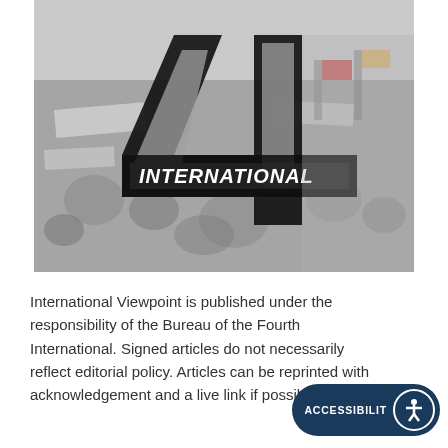[Figure (photo): A large protest crowd scene with banners and flags, overlaid with a bold number '4' and the word 'INTERNATIONAL' written across it, suggesting the Fourth International publication logo.]
International Viewpoint is published under the responsibility of the Bureau of the Fourth International. Signed articles do not necessarily reflect editorial policy. Articles can be reprinted with acknowledgement and a live link if possible.